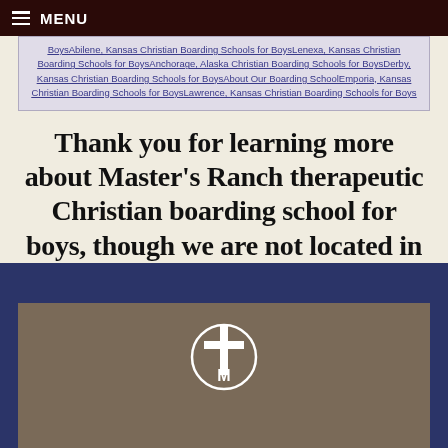MENU
BoysAbilene, Kansas Christian Boarding Schools for BoysLenexa, Kansas Christian Boarding Schools for BoysAnchorage, Alaska Christian Boarding Schools for BoysDerby, Kansas Christian Boarding Schools for BoysAbout Our Boarding SchoolEmporia, Kansas Christian Boarding Schools for BoysLawrence, Kansas Christian Boarding Schools for Boys
Thank you for learning more about Master's Ranch therapeutic Christian boarding school for boys, though we are not located in Mena, AR.
[Figure (logo): Master's Ranch logo: white cross with 'M' emblem inside a circle, on a brown/tan background within dark navy footer]